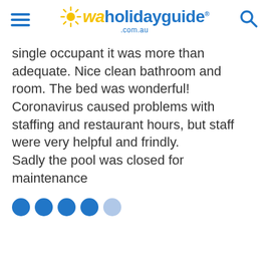waholidayguide .com.au
single occupant it was more than adequate. Nice clean bathroom and room. The bed was wonderful!
Coronavirus caused problems with staffing and restaurant hours, but staff were very helpful and frindly.
Sadly the pool was closed for maintenance
[Figure (other): Rating dots: 4 filled blue circles and 1 lighter blue circle indicating a 4 out of 5 star rating]